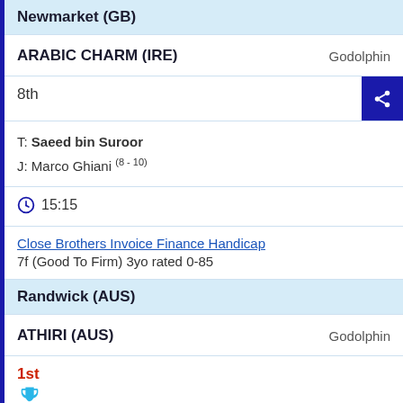Newmarket (GB)
ARABIC CHARM (IRE)    Godolphin
8th
T: Saeed bin Suroor
J: Marco Ghiani (8 - 10)
15:15
Close Brothers Invoice Finance Handicap
7f (Good To Firm) 3yo rated 0-85
Randwick (AUS)
ATHIRI (AUS)    Godolphin
1st
T: James Cummings